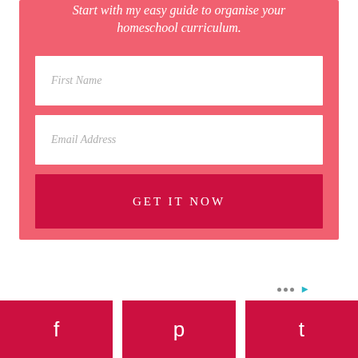Start with my easy guide to organise your homeschool curriculum.
[Figure (screenshot): Web form with First Name input field, Email Address input field, and a GET IT NOW button on a pink/red background]
[Figure (infographic): Social sharing bar at the bottom with Facebook, Pinterest, and Twitter buttons in red/crimson color]